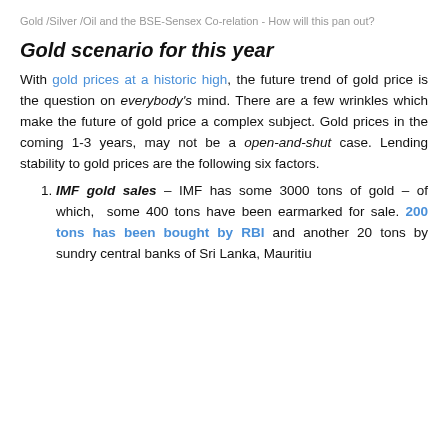Gold /Silver /Oil and the BSE-Sensex Co-relation - How will this pan out?
Gold scenario for this year
With gold prices at a historic high, the future trend of gold price is the question on everybody's mind. There are a few wrinkles which make the future of gold price a complex subject. Gold prices in the coming 1-3 years, may not be a open-and-shut case. Lending stability to gold prices are the following six factors.
IMF gold sales – IMF has some 3000 tons of gold – of which, some 400 tons have been earmarked for sale. 200 tons has been bought by RBI and another 20 tons by sundry central banks of Sri Lanka, Mauritius...